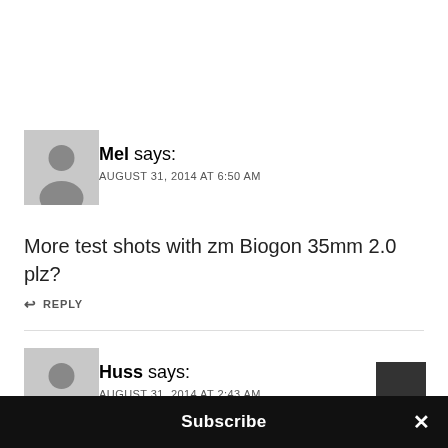Mel says:
AUGUST 31, 2014 AT 6:50 AM
More test shots with zm Biogon 35mm 2.0 plz?
↩ REPLY
Huss says:
AUGUST 31, 2014 AT 2:43 AM
Subscribe